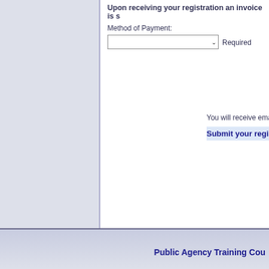Upon receiving your registration an invoice is s
Method of Payment:
Required
You will receive email confirmation of your registra
Submit your registration now!
If
Public Agency Training Cou
About PATC | PATC Publishing/Booksto